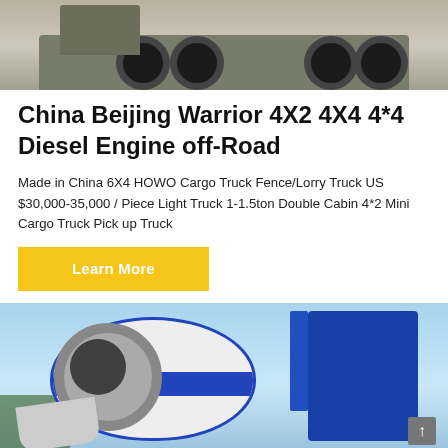[Figure (photo): Photo of a military-style off-road truck (olive green/grey) with multiple rear axles and large tires, viewed from the side on a paved surface.]
China Beijing Warrior 4X2 4X4 4*4 Diesel Engine off-Road
Made in China 6X4 HOWO Cargo Truck Fence/Lorry Truck US $30,000-35,000 / Piece Light Truck 1-1.5ton Double Cabin 4*2 Mini Cargo Truck Pick up Truck
Learn More
[Figure (photo): Photo of a white and blue concrete mixer drum mounted on a truck chassis, with a large circular opening on the left side. Blue sky and trees in the background.]